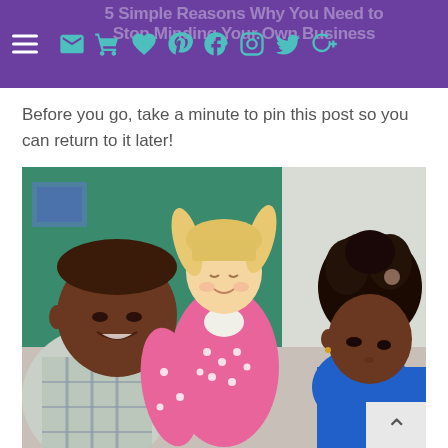5 Simple Reasons Why You Need to Stop Minding Your Own Business
Before you go, take a minute to pin this post so you can return to it later!
[Figure (photo): Three elementary school children in a classroom — a boy on the left in a plaid shirt, a blonde girl in the center wearing a pink polka-dot cardigan smiling with eyes closed, and a girl with natural hair on the right in a blue top, all looking downward at something. A green chalkboard is visible in the background.]